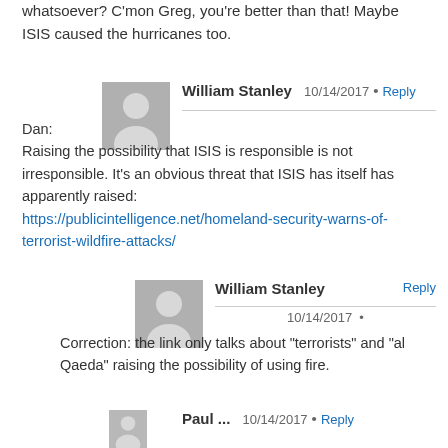whatsoever? C'mon Greg, you're better than that! Maybe ISIS caused the hurricanes too.
William Stanley  10/14/2017 • Reply
Dan:
Raising the possibility that ISIS is responsible is not irresponsible. It's an obvious threat that ISIS has itself has apparently raised:
https://publicintelligence.net/homeland-security-warns-of-terrorist-wildfire-attacks/
William Stanley  Reply
10/14/2017 •
Correction: the link only talks about "terrorists" and "al Qaeda" raising the possibility of using fire.
Paul ...  10/14/2017 • Reply